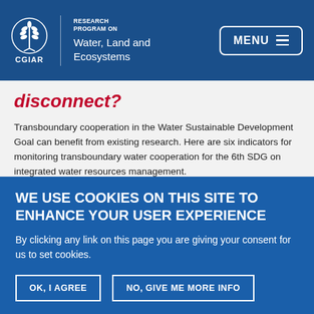CGIAR Research Program on Water, Land and Ecosystems | MENU
disconnect?
Transboundary cooperation in the Water Sustainable Development Goal can benefit from existing research. Here are six indicators for monitoring transboundary water cooperation for the 6th SDG on integrated water resources management.
Tariro Saruchera
WE USE COOKIES ON THIS SITE TO ENHANCE YOUR USER EXPERIENCE
By clicking any link on this page you are giving your consent for us to set cookies.
OK, I AGREE | NO, GIVE ME MORE INFO